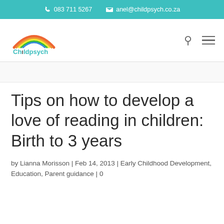083 711 5267  anel@childpsych.co.za
[Figure (logo): Childpsych logo with rainbow arc above the text 'Childpsych' in teal, with search and menu icons on the right]
Tips on how to develop a love of reading in children: Birth to 3 years
by Lianna Morisson | Feb 14, 2013 | Early Childhood Development, Education, Parent guidance | 0